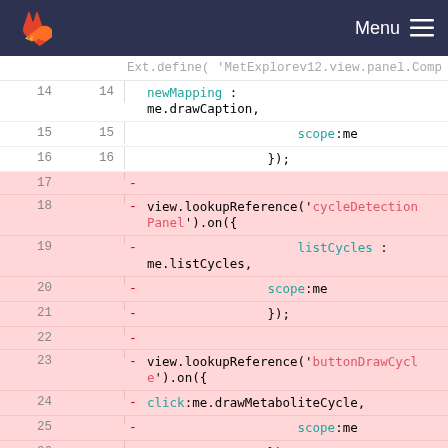Menu
[Figure (screenshot): Code diff view showing lines 14-26 of a JavaScript file with deleted lines (pink background) for cycleDetection and buttonDrawCycle event listeners]
Ext.define( 'MetExplorev12.view.panel.Comp
14  14    newMapping : me.drawCaption,
15  15    scope:me
16  16    });
17  -
18  -   view.lookupReference('cycleDetectionPanel').on({
19  -    listCycles : me.listCycles,
20  -    scope:me
21  -    });
22  -
23  -   view.lookupReference('buttonDrawCycle').on({
24  -    click:me.drawMetaboliteCycle,
25  -    scope:me
26  -    });